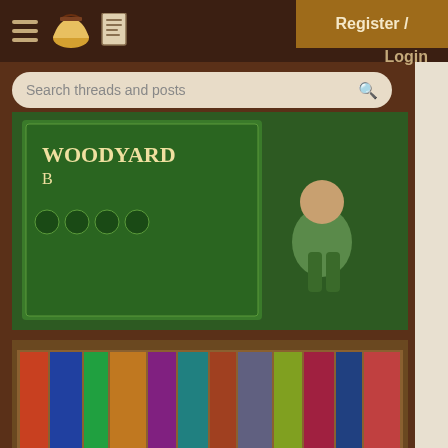CodeRanch - hamburger menu, pie logo, doc icon, Register / Login
Search threads and posts
[Figure (screenshot): Green woodyard game/book box image with cartoon character]
[Figure (illustration): Code Ranch Book Reviews - steampunk style bookshelf graphic with western font]
[Figure (illustration): Amazing Invention? steampunk airship advertisement banner - Advertise Here!]
How to Load jmf.jar in A
5 replies
Window Media Player In
3 replies
focus selection of compo
3 replies
JMF problem
6 replies
Control Digital Camera
(truncated)